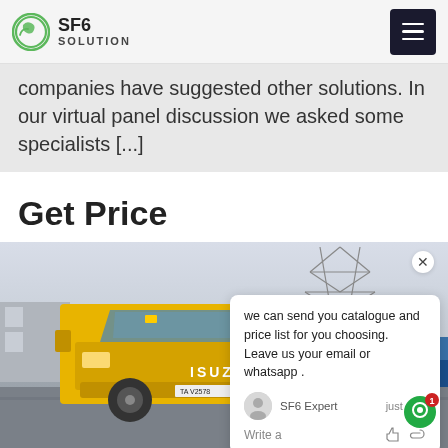SF6 SOLUTION
companies have suggested other solutions. In our virtual panel discussion we asked some specialists [...]
Get Price
[Figure (photo): Yellow ISUZU truck parked in front of a high-voltage power transmission tower and a blue facility gate with Chinese text reading 国家电网 (State Grid).]
we can send you catalogue and price list for you choosing. Leave us your email or whatsapp .
SF6 Expert   just now
Write a